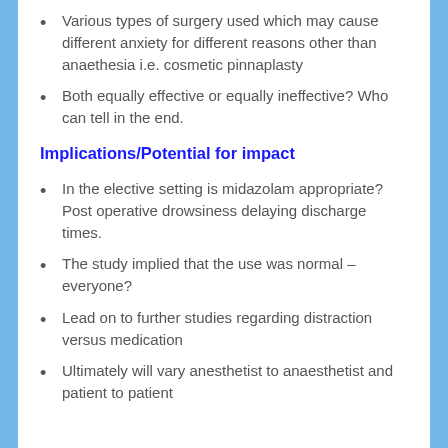Various types of surgery used which may cause different anxiety for different reasons other than anaethesia i.e. cosmetic pinnaplasty
Both equally effective or equally ineffective? Who can tell in the end.
Implications/Potential for impact
In the elective setting is midazolam appropriate? Post operative drowsiness delaying discharge times.
The study implied that the use was normal – everyone?
Lead on to further studies regarding distraction versus medication
Ultimately will vary anesthetist to anaesthetist and patient to patient